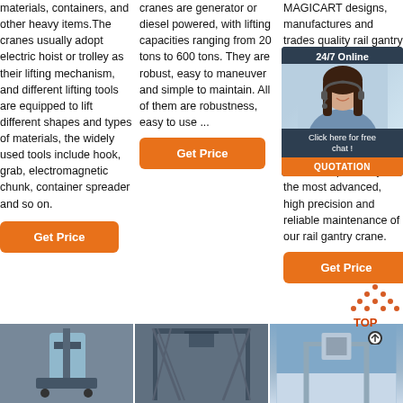materials, containers, and other heavy items. The cranes usually adopt electric hoist or trolley as their lifting mechanism, and different lifting tools are equipped to lift different shapes and types of materials, the widely used tools include hook, grab, electromagnetic chunk, container spreader and so on.
Get Price
cranes are generator or diesel powered, with lifting capacities ranging from 20 tons to 600 tons. They are robust, easy to maneuver and simple to maintain. All of them are robustness, easy to use ...
Get Price
MAGICART designs, manufactures and trades quality rail gantry crane made in China at competitive price. As one of the largest manufacturer, supplier of gantry cranes, we are committed to be a professional company which can provide you the most advanced, high precision and reliable maintenance of our rail gantry crane.
Get Price
[Figure (infographic): 24/7 Online chat widget with a woman wearing a headset, dark background, 'Click here for free chat!' text and orange QUOTATION button]
[Figure (infographic): TOP button with dotted triangle arrow pointing up and circular back-to-top icon]
[Figure (photo): Photo of a crane/hoist equipment, dark industrial machinery]
[Figure (photo): Photo of a large gantry crane structure outdoors]
[Figure (photo): Photo of a crane against a blue sky background]